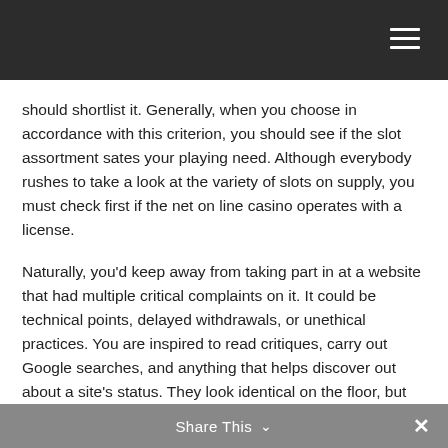should shortlist it. Generally, when you choose in accordance with this criterion, you should see if the slot assortment sates your playing need. Although everybody rushes to take a look at the variety of slots on supply, you must check first if the net on line casino operates with a license.
Naturally, you’d keep away from taking part in at a website that had multiple critical complaints on it. It could be technical points, delayed withdrawals, or unethical practices. You are inspired to read critiques, carry out Google searches, and anything that helps discover out about a site’s status. They look identical on the floor, but there are probably some big variations between the two.
Share This